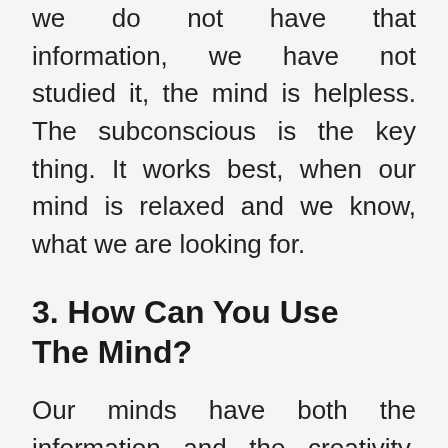we do not have that information, we have not studied it, the mind is helpless. The subconscious is the key thing. It works best, when our mind is relaxed and we know, what we are looking for.
3. How Can You Use The Mind?
Our minds have both the information and the creativity, i.e. they can put things together in a new, unique and